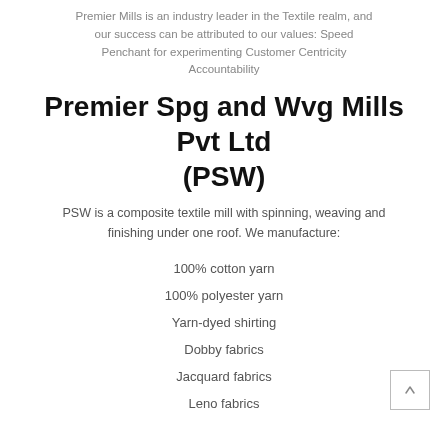Premier Mills is an industry leader in the Textile realm, and our success can be attributed to our values: Speed Penchant for experimenting Customer Centricity Accountability
Premier Spg and Wvg Mills Pvt Ltd (PSW)
PSW is a composite textile mill with spinning, weaving and finishing under one roof. We manufacture:
100% cotton yarn
100% polyester yarn
Yarn-dyed shirting
Dobby fabrics
Jacquard fabrics
Leno fabrics